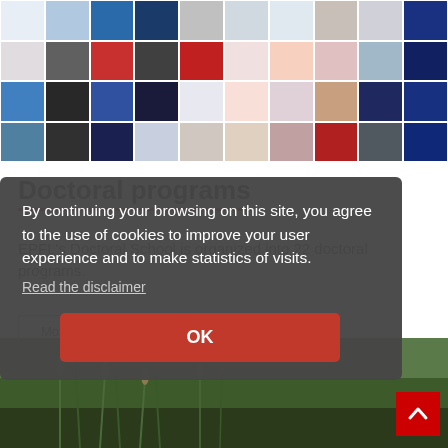[Figure (illustration): Grid of colorful scientific and academic thumbnail images forming a banner strip at the top of the page]
Doctoral programs
EPFL's Doctoral School is organized into 22 doctoral programs.
More
[Figure (photo): Landscape photo showing green reeds or grass in a natural setting]
By continuing your browsing on this site, you agree to the use of cookies to improve your user experience and to make statistics of visits.
Read the disclaimer
OK